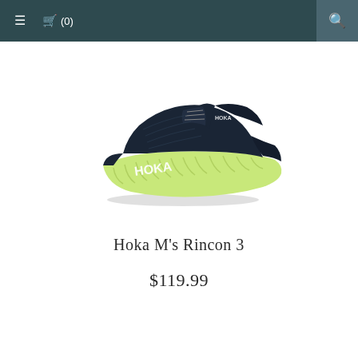≡  🛒 (0)   🔍
[Figure (photo): A Hoka running shoe (Rincon 3) shown in side profile. The shoe has a dark navy/black upper with HOKA branding in white on the side, and a chunky light lime/yellow-green midsole with distinctive ridged cushioning.]
Hoka M's Rincon 3
$119.99